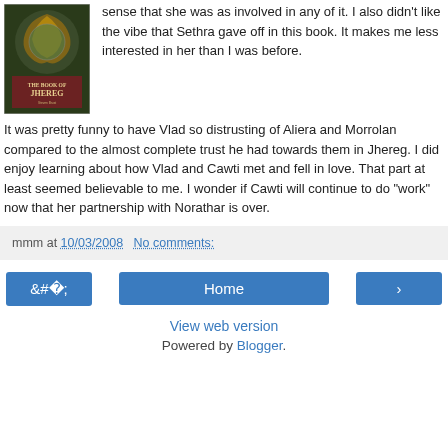[Figure (photo): Book cover of 'The Book of Jhereg']
sense that she was as involved in any of it. I also didn't like the vibe that Sethra gave off in this book. It makes me less interested in her than I was before.
It was pretty funny to have Vlad so distrusting of Aliera and Morrolan compared to the almost complete trust he had towards them in Jhereg. I did enjoy learning about how Vlad and Cawti met and fell in love. That part at least seemed believable to me. I wonder if Cawti will continue to do "work" now that her partnership with Norathar is over.
mmm at 10/03/2008   No comments:
Home
View web version
Powered by Blogger.